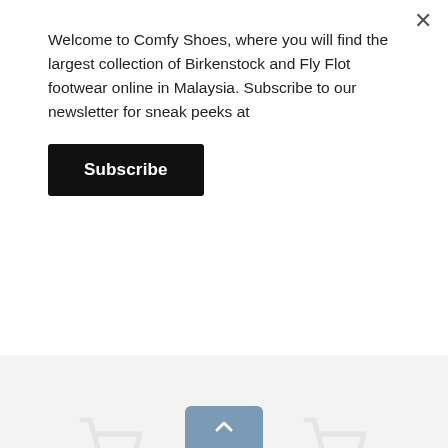Welcome to Comfy Shoes, where you will find the largest collection of Birkenstock and Fly Flot footwear online in Malaysia. Subscribe to our newsletter for sneak peeks at
Subscribe
[Figure (screenshot): Product card for A640 POLYURETHANE... showing a shopping cart placeholder icon, original price RM319.00 (struck through), current price RM319.00]
[Figure (screenshot): Product card for ALICIA LEATHER SHINY.. showing a shopping cart placeholder icon, discount badge -40%, original price RM479.00 (struck through), current price RM287.40]
A640 POLYURETHANE...
RM319.00
RM319.00
ALICIA LEATHER SHINY..
RM479.00
RM287.40